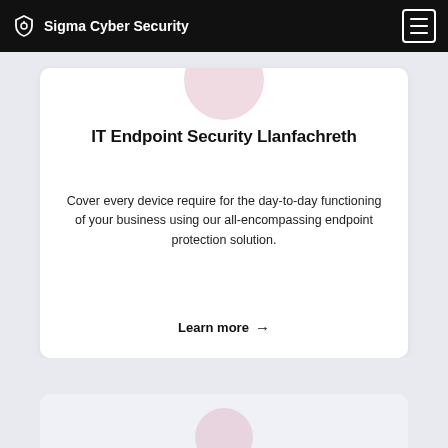Sigma Cyber Security
IT Endpoint Security Llanfachreth
Cover every device require for the day-to-day functioning of your business using our all-encompassing endpoint protection solution.
Learn more →